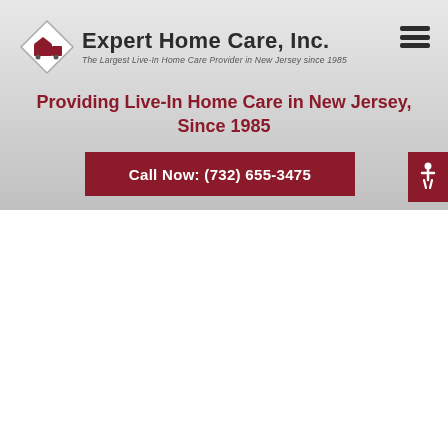[Figure (logo): Expert Home Care, Inc. logo with diamond shape icon and tagline 'The Largest Live-In Home Care Provider in New Jersey since 1985']
[Figure (other): Hamburger menu icon (three horizontal lines) in top right corner]
Providing Live-In Home Care in New Jersey, Since 1985
Call Now: (732) 655-3475
[Figure (other): Accessibility/wheelchair icon button in dark red on far right edge]